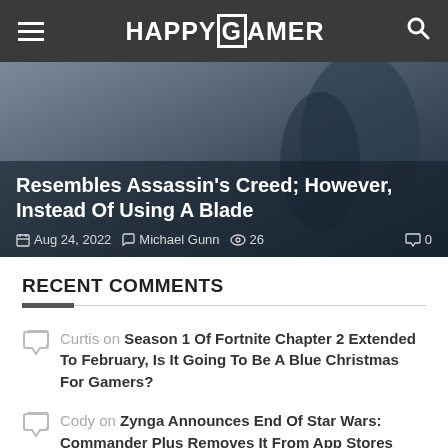HAPPYGAMER
Resembles Assassin's Creed; However, Instead Of Using A Blade
Aug 24, 2022  Michael Gunn  26  0
RECENT COMMENTS
Curtis on Season 1 Of Fortnite Chapter 2 Extended To February, Is It Going To Be A Blue Christmas For Gamers?
Cody on Zynga Announces End Of Star Wars: Commander Plus Removes It From App Stores
Ice Ninja on When Will The Terraria 1.4 Journey's End Update Come To Console?